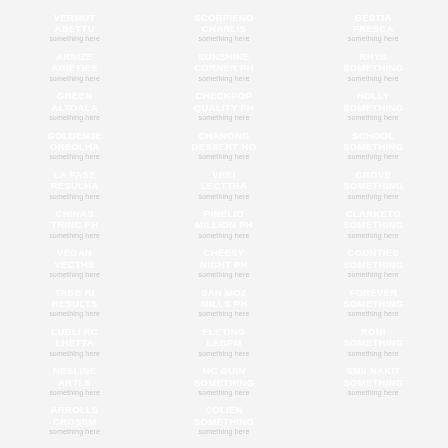VERMUT ABETTU
SCORPIENO CHARLIS
BESTIA FRESCA
ARNIZE ARIETIES
SUNSHINE CORNER PH
RHYS SOMETHING
GREEN ALTOALA
CHECKPOP QUALITY PH
HOLLY SOMETHING
GOLDENJE OREOLHA
CHANONG DESSERT HO
SCHOOL SOMETHING
LA PASE RESULHA
VREI LECTTHA
GROVE SOMETHING
CHINAS TRINC PH
PINELIO million PH
CLARKETO something
VEGAN VECTHS
CHEESY NIGHT PH
COUNTIES SOMETHING
TABB RI RESULTS
SAN MOZ MILLS PH
FOREVER SOMETHING
LUBLI RC LHETTA
ELETING LABPM
RONI SOMETHING
NESLINE ARTLS
Mc GUIN SOMETHING
SMII NAKIT SOMETHING
ARROLLS CROSSM
COLIEN SOMETHING